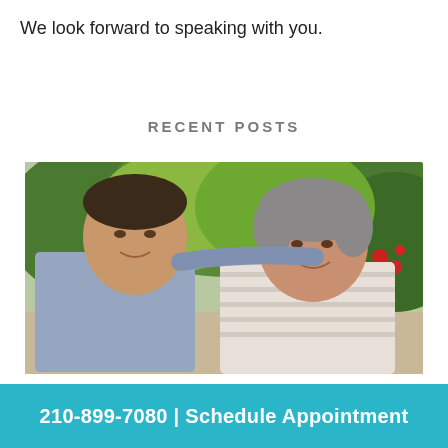We look forward to speaking with you.
RECENT POSTS
[Figure (photo): An older couple smiling at each other outdoors in a garden setting with green trees and red flowers in the background. The man on the left has dark hair and is wearing a light blue checked shirt. The woman on the right has grey hair and is wearing a striped shirt. The man has his arm around the woman.]
210-899-7080 | Schedule Appointment